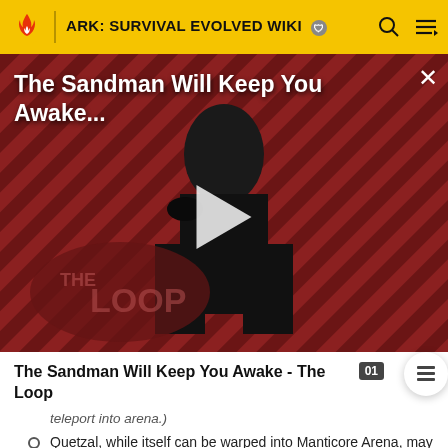ARK: SURVIVAL EVOLVED WIKI
[Figure (screenshot): Video advertisement overlay showing 'The Sandman Will Keep You Awake...' title with a dark-cloaked figure against a red diagonal-striped background, The Loop branding, and a play button.]
The Sandman Will Keep You Awake - The Loop
teleport into arena.)
Quetzal, while itself can be warped into Manticore Arena, may not warp inside if it is wearing a Platform saddle with at least one